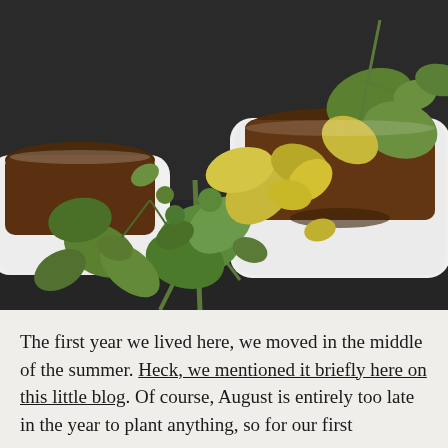[Figure (photo): Close-up photo of green plants with yellow-tinged leaves growing in white ceramic pots filled with dark brown soil, set on a dark surface. Multiple plant stems and leaves visible, some leaves appear yellowing or wilted.]
The first year we lived here, we moved in the middle of the summer. Heck, we mentioned it briefly here on this little blog. Of course, August is entirely too late in the year to plant anything, so for our first